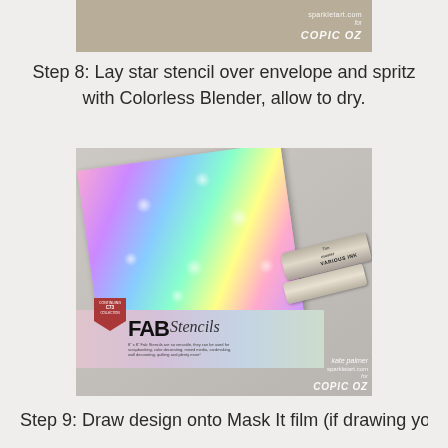[Figure (photo): Top portion of a previous step photo showing a tan/khaki colored background with sparkletart.com for COPIC OZ watermark]
Step 8: Lay star stencil over envelope and spritz with Colorless Blender, allow to dry.
[Figure (photo): Photo showing a colorful rainbow-colored envelope with star stencil pattern, FAB Stencils package, and Copic Various Ink markers. Watermark reads: kate palmer sparkletart.com for COPIC OZ]
Step 9: Draw design onto Mask It film (if drawing your own